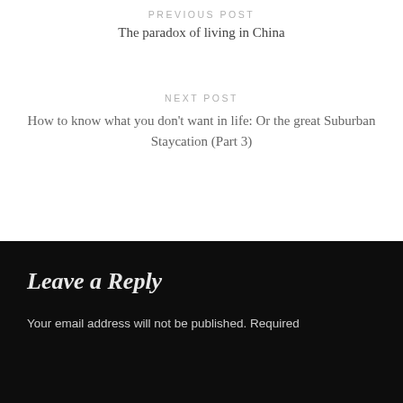PREVIOUS POST
The paradox of living in China
NEXT POST
How to know what you don't want in life: Or the great Suburban Staycation (Part 3)
Leave a Reply
Your email address will not be published. Required